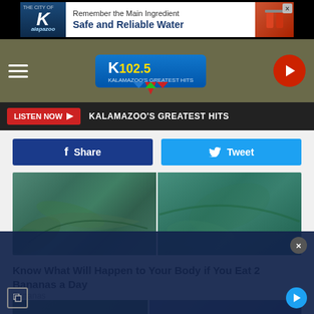[Figure (screenshot): Advertisement banner for City of Kalamazoo: 'Remember the Main Ingredient Safe and Reliable Water' with logo and image of water cups]
[Figure (logo): K102.5 Kalamazoo's Greatest Hits radio station logo with hamburger menu and play button]
LISTEN NOW ▶   KALAMAZOO'S GREATEST HITS
Share
Tweet
[Figure (photo): Two side-by-side photos of blue/teal colored bananas]
Know What Will Happen to Your Body if You Eat 2 Bananas a Day
Bananas
[Figure (photo): Article image below - partially visible nature/outdoor photo with blue overlay advertisement obscuring lower portion]